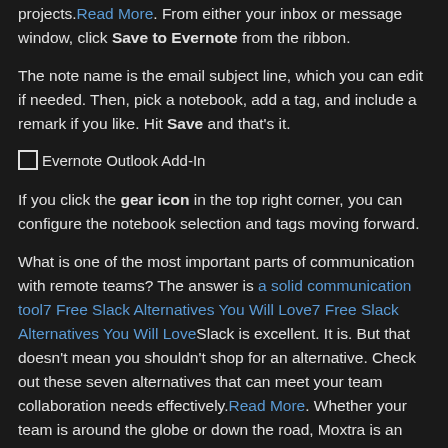projects.Read More. From either your inbox or message window, click Save to Evernote from the ribbon.
The note name is the email subject line, which you can edit if needed. Then, pick a notebook, add a tag, and include a remark if you like. Hit Save and that's it.
[Figure (screenshot): Broken image placeholder labeled 'Evernote Outlook Add-In']
If you click the gear icon in the top right corner, you can configure the notebook selection and tags moving forward.
What is one of the most important parts of communication with remote teams? The answer is a solid communication tool7 Free Slack Alternatives You Will Love7 Free Slack Alternatives You Will LoveSlack is excellent. It is. But that doesn't mean you shouldn't shop for an alternative. Check out these seven alternatives that can meet your team collaboration needs effectively.Read More. Whether your team is around the globe or down the road, Moxtra is an application that helps you all feel like you're in the same room. And, with